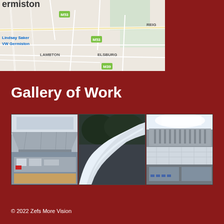[Figure (map): Street map showing Germiston area with roads, M53 motorway labels, Lindsay Saker VW Germiston marker, LAMBTON, ELSBURG, and REIG areas visible]
Gallery of Work
[Figure (photo): Three side-by-side photos of kitchen exhaust hood/duct fabrication work: left shows commercial kitchen with stainless steel hood and equipment, center shows curved ductwork/ventilation fabrication, right shows commercial kitchen exhaust system with cooking equipment]
© 2022 Zefs More Vision